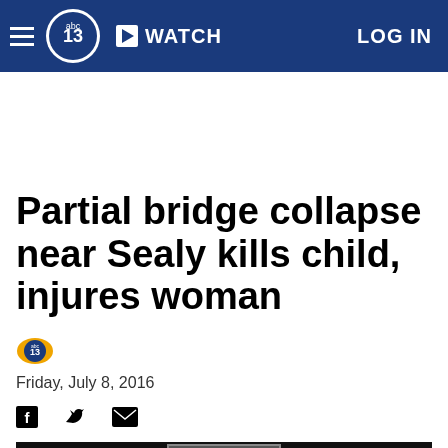abc13 WATCH LOG IN
Partial bridge collapse near Sealy kills child, injures woman
Friday, July 8, 2016
[Figure (screenshot): Video thumbnail at bottom of page, dark background with a lighter inner box]
[Figure (logo): abc13 logo in navigation bar]
[Figure (logo): abc13 small byline logo]